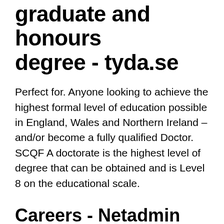graduate and honours degree - tyda.se
Perfect for. Anyone looking to achieve the highest formal level of education possible in England, Wales and Northern Ireland – and/or become a fully qualified Doctor. SCQF A doctorate is the highest level of degree that can be obtained and is Level 8 on the educational scale.
Careers - Netadmin Systems
Common entry requirements are completion of a Bachelor Degree (with or without Honours) and a qualifying year or equivalent, or a research based Graduate Diploma. CODE 2 Graduate diploma and graduate certificate level Highest education